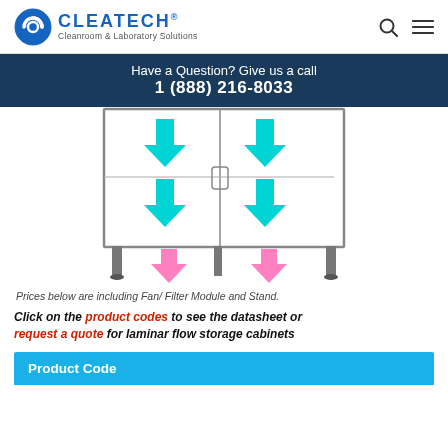CLEATECH® Cleanroom & Laboratory Solutions
Have a Question? Give us a call 1 (888) 216-8033
[Figure (illustration): Laminar flow storage cabinet diagram showing cyan downward arrows inside glass cabinet panels and pink downward arrows below the cabinet floor indicating airflow direction]
Prices below are including Fan/ Filter Module and Stand.
Click on the product codes to see the datasheet or request a quote for laminar flow storage cabinets
| Product Code |
| --- |